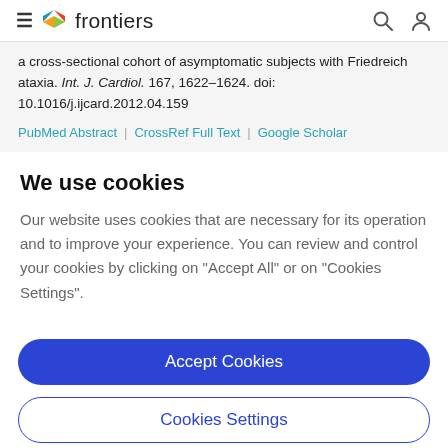frontiers
a cross-sectional cohort of asymptomatic subjects with Friedreich ataxia. Int. J. Cardiol. 167, 1622–1624. doi: 10.1016/j.ijcard.2012.04.159
PubMed Abstract | CrossRef Full Text | Google Scholar
We use cookies
Our website uses cookies that are necessary for its operation and to improve your experience. You can review and control your cookies by clicking on "Accept All" or on "Cookies Settings".
Accept Cookies
Cookies Settings